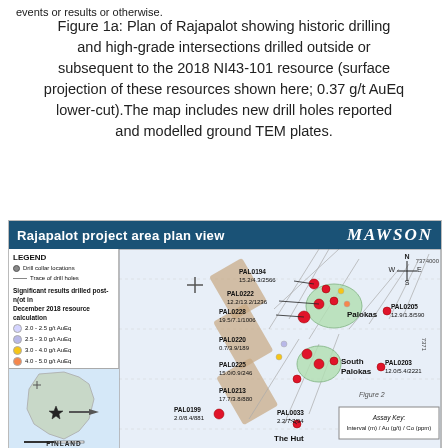events or results or otherwise.
Figure 1a: Plan of Rajapalot showing historic drilling and high-grade intersections drilled outside or subsequent to the 2018 NI43-101 resource (surface projection of these resources shown here; 0.37 g/t AuEq lower-cut).The map includes new drill holes reported and modelled ground TEM plates.
[Figure (map): Rajapalot project area plan view map with legend showing drill collar locations, trace of drill holes, significant results post-2018 NI43-101 resource (2.0-2.5 g/t AuEq, 2.5-3.0 g/t AuEq, 3.0-4.0 g/t AuEq, 4.0-5.0 g/t AuEq, >5.0 g/t AuEq), 2018 inferred resource outlines, and plan view of modelled EM plates. Labeled drill holes include PAL0194 15.2/4.3/2566, PAL0222 12.2/13.2/1236, PAL0228 19.5/7.1/1006, PAL0205 12.9/1.8/590, PAL0220 0.7/3.9/189, PAL0203 12.0/5.4/2221, PAL0225 15.0/0.9/246, PAL0213 17.7/3.8/880, PAL0199 2.0/8.4/881, PAL0033 2.2/7.7/94. Localities shown: Palokas, South Palokas, The Hut. Inset shows Finland location map with star marker. Assay Key: Interval (m) / Au (g/t) / Co (ppm). Mawson logo top right.]